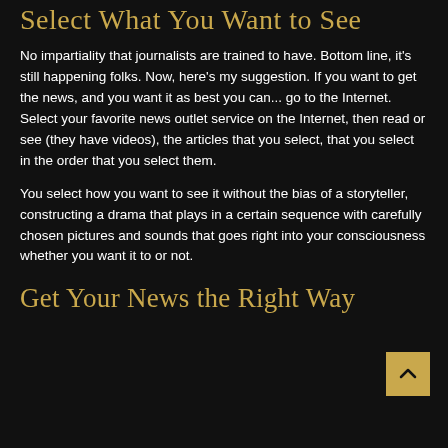Select What You Want to See
No impartiality that journalists are trained to have. Bottom line, it's still happening folks. Now, here's my suggestion. If you want to get the news, and you want it as best you can... go to the Internet. Select your favorite news outlet service on the Internet, then read or see (they have videos), the articles that you select, that you select in the order that you select them.
You select how you want to see it without the bias of a storyteller, constructing a drama that plays in a certain sequence with carefully chosen pictures and sounds that goes right into your consciousness whether you want it to or not.
Get Your News the Right Way